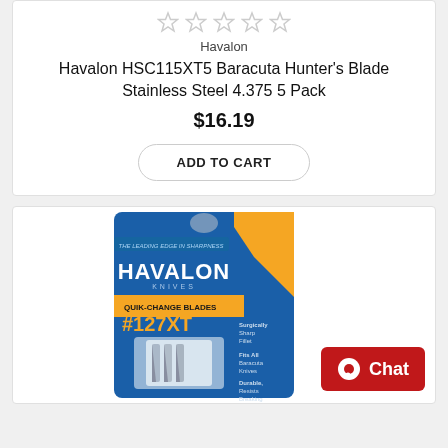[Figure (other): Five empty gray star rating icons]
Havalon
Havalon HSC115XT5 Baracuta Hunter's Blade Stainless Steel 4.375 5 Pack
$16.19
ADD TO CART
[Figure (photo): Havalon Knives product package showing QUIK-CHANGE BLADES #127XT blades in blue and orange packaging with blade visible inside clear blister pack]
Chat